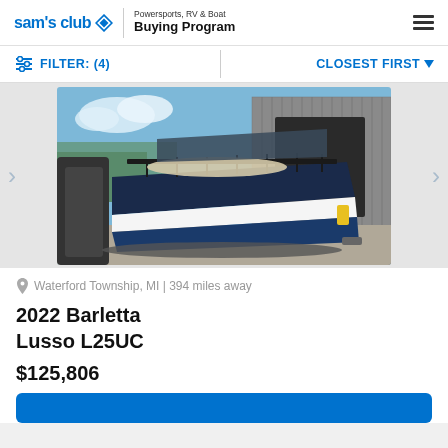sam's club ◇ | Powersports, RV & Boat Buying Program
FILTER: (4)   CLOSEST FIRST
[Figure (photo): Photograph of a 2022 Barletta Lusso L25UC pontoon boat, navy blue and white, parked inside or near a storage facility with a grey corrugated metal building in the background. The boat is shown from a side angle revealing seating and pontoon hull.]
Waterford Township, MI | 394 miles away
2022 Barletta Lusso L25UC
$125,806